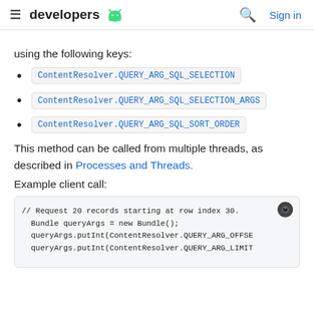≡ developers 🤖  🔍 Sign in
using the following keys:
ContentResolver.QUERY_ARG_SQL_SELECTION
ContentResolver.QUERY_ARG_SQL_SELECTION_ARGS
ContentResolver.QUERY_ARG_SQL_SORT_ORDER
This method can be called from multiple threads, as described in Processes and Threads.
Example client call:
[Figure (screenshot): Code block showing Java example client call: // Request 20 records starting at row index 30. Bundle queryArgs = new Bundle(); queryArgs.putInt(ContentResolver.QUERY_ARG_OFFSE queryArgs.putInt(ContentResolver.QUERY_ARG_LIMIT]